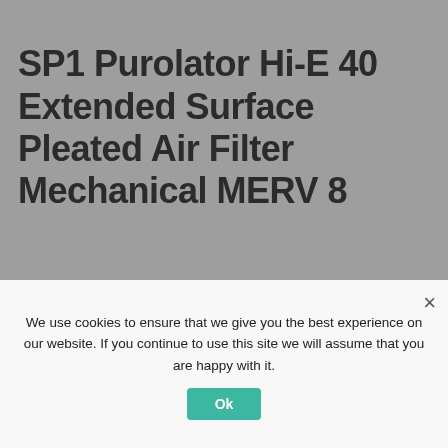SP1 Purolator Hi-E 40 Extended Surface Pleated Air Filter Mechanical MERV 8
[Figure (photo): Product image of a pleated air filter with a blue MERV 8 badge in the corner, showing 'VERY GOOD PROTECTION' text and icons for Lint & dust, Dust mites, and Pollen on the right side. A cookie consent dialog overlays the lower portion.]